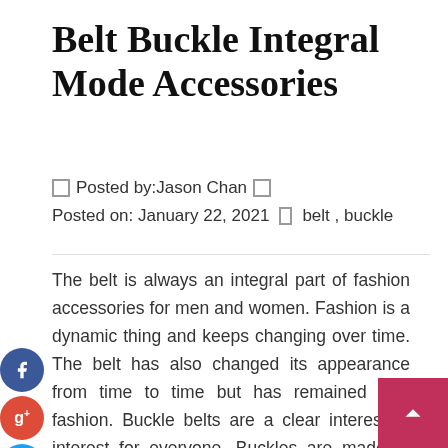Belt Buckle Integral Mode Accessories
Posted by: Jason Chan
Posted on: January 22, 2021   belt , buckle
The belt is always an integral part of fashion accessories for men and women. Fashion is a dynamic thing and keeps changing over time. The belt has also changed its appearance from time to time but has remained with fashion. Buckle belts are a clear interest of interest for everyone. Buckles are made of materials such as wood, metal, and plas... If you want various kinds of belt buckles then, visit this site.